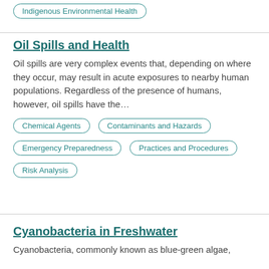Indigenous Environmental Health
Oil Spills and Health
Oil spills are very complex events that, depending on where they occur, may result in acute exposures to nearby human populations. Regardless of the presence of humans, however, oil spills have the…
Chemical Agents
Contaminants and Hazards
Emergency Preparedness
Practices and Procedures
Risk Analysis
Cyanobacteria in Freshwater
Cyanobacteria, commonly known as blue-green algae,